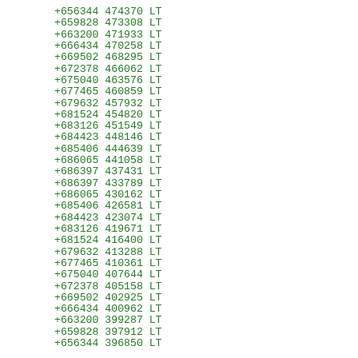+656344 474370 LT
+659828 473308 LT
+663200 471933 LT
+666434 470258 LT
+669502 468295 LT
+672378 466062 LT
+675040 463576 LT
+677465 460859 LT
+679632 457932 LT
+681524 454820 LT
+683126 451549 LT
+684423 448146 LT
+685406 444639 LT
+686065 441058 LT
+686397 437431 LT
+686397 433789 LT
+686065 430162 LT
+685406 426581 LT
+684423 423074 LT
+683126 419671 LT
+681524 416400 LT
+679632 413288 LT
+677465 410361 LT
+675040 407644 LT
+672378 405158 LT
+669502 402925 LT
+666434 400962 LT
+663200 399287 LT
+659828 397912 LT
+656344 396850 LT